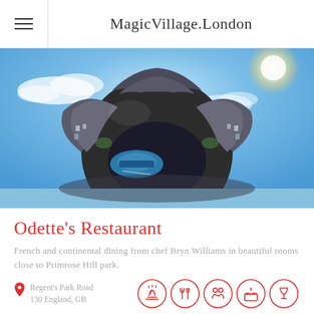MagicVillage.London
[Figure (photo): 360-degree tiny planet photo of a London street scene with buildings curving around a spherical distortion against a blue sky with clouds]
Odette's Restaurant
French and continental dining from chef Bryn Williams in beautiful rooms close to Primrose Hill park.
Regent's Park Road
130 England, GB